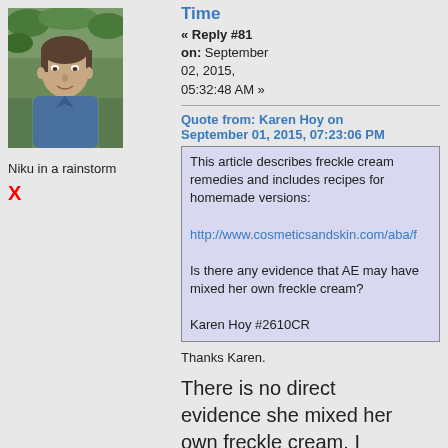[Figure (photo): Avatar photo of a man with short hair in a blue shirt, outdoors.]
Niku in a rainstorm
X
Time
« Reply #81 on: September 02, 2015, 05:32:48 AM »
Quote from: Karen Hoy on September 01, 2015, 07:23:06 PM
This article describes freckle cream remedies and includes recipes for homemade versions:

http://www.cosmeticsandskin.com/aba/f

Is there any evidence that AE may have mixed her own freckle cream?

Karen Hoy #2610CR
Thanks Karen.
There is no direct evidence she mixed her own freckle cream. I would not have expected such a thing to be documented, if indeed it even happened.